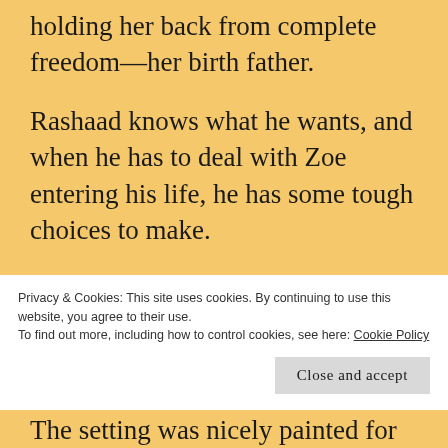holding her back from complete freedom—her birth father.
Rashaad knows what he wants, and when he has to deal with Zoe entering his life, he has some tough choices to make.
Usually, I'm not big on secondary characters taking up too much time on the page, but I really enjoyed a look into Zoe's family
Privacy & Cookies: This site uses cookies. By continuing to use this website, you agree to their use.
To find out more, including how to control cookies, see here: Cookie Policy
Close and accept
The setting was nicely painted for